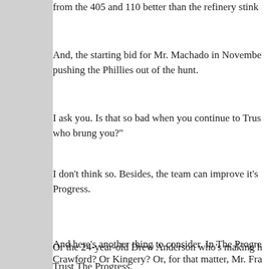from the 405 and 110 better than the refinery stink
And, the starting bid for Mr. Machado in Novembe pushing the Phillies out of the hunt.
I ask you. Is that so bad when you continue to Trus who brung you?"
I don't think so. Besides, the team can improve it's Progress.
And here's another thing to consider. In The Progre Crawford? Or Kingery? Or, for that matter, Mr. Fra like a Toms River kid at Williamsport.
Or the 24-year-old Drew Anderson who's making h
Trust The Progress.